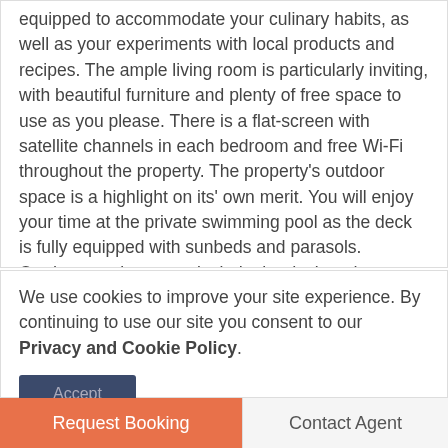equipped to accommodate your culinary habits, as well as your experiments with local products and recipes. The ample living room is particularly inviting, with beautiful furniture and plenty of free space to use as you please. There is a flat-screen with satellite channels in each bedroom and free Wi-Fi throughout the property. The property's outdoor space is a highlight on its' own merit. You will enjoy your time at the private swimming pool as the deck is fully equipped with sunbeds and parasols. Outdoor seating areas include the deck and a
We use cookies to improve your site experience. By continuing to use our site you consent to our Privacy and Cookie Policy.
Accept
Request Booking
Contact Agent